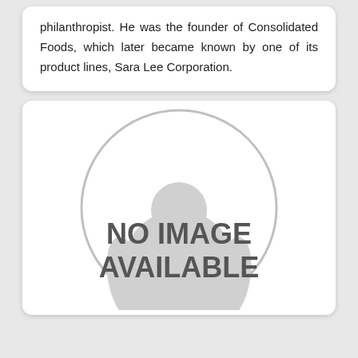philanthropist. He was the founder of Consolidated Foods, which later became known by one of its product lines, Sara Lee Corporation.
[Figure (illustration): Placeholder image showing a generic person silhouette inside a circle with text 'NO IMAGE AVAILABLE']